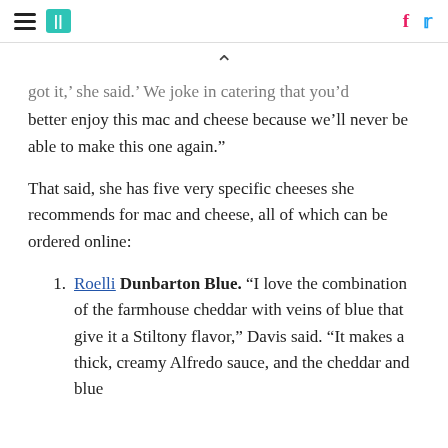HuffPost navigation header with hamburger menu, logo, Facebook and Twitter icons
got it,' she said. 'We joke in catering that you'd better enjoy this mac and cheese because we'll never be able to make this one again.'
That said, she has five very specific cheeses she recommends for mac and cheese, all of which can be ordered online:
Roelli Dunbarton Blue. “I love the combination of the farmhouse cheddar with veins of blue that give it a Stiltony flavor,” Davis said. “It makes a thick, creamy Alfredo sauce, and the cheddar and blue